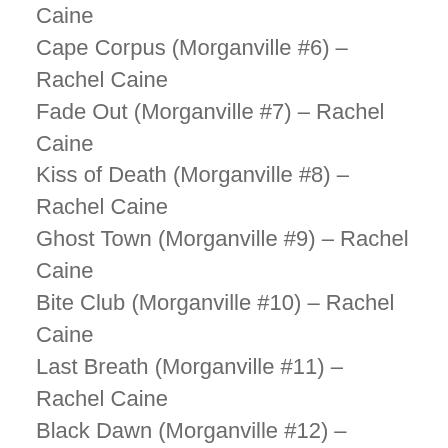Caine
Cape Corpus (Morganville #6) – Rachel Caine
Fade Out (Morganville #7) – Rachel Caine
Kiss of Death (Morganville #8) – Rachel Caine
Ghost Town (Morganville #9) – Rachel Caine
Bite Club (Morganville #10) – Rachel Caine
Last Breath (Morganville #11) – Rachel Caine
Black Dawn (Morganville #12) – Rachel Caine
The Quiet at the End of the World – Lauren James
Bitter Blood (Morganville #13) – Rachel Caine
Fall of Night (Morganville #14) – Rachel Caine
Daylighters (Morganville #15) – Rachel Caine
Midnight Bites – Rachel Caine
The Love and Lies of Rukhsana Ali – Sabina Khan